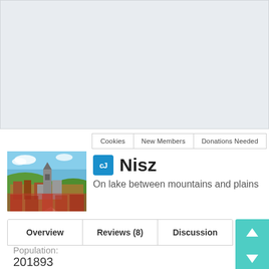[Figure (other): Large light-blue/grey placeholder banner area at the top of the page]
Cookies   New Members   Donations Needed
[Figure (photo): City image showing a medieval town with a large cathedral and rooftops against a green hillside and blue sky]
Nisz
On lake between mountains and plains
Overview   Reviews (8)   Discussion
Population:
201893